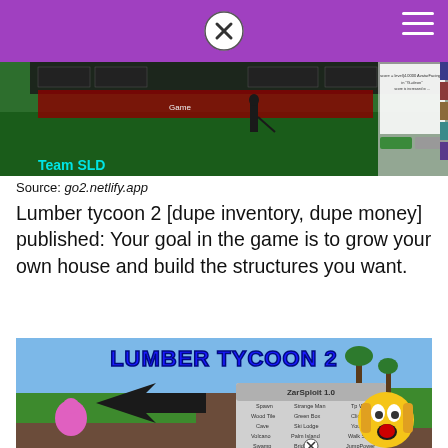[Figure (screenshot): Roblox game screenshot showing golf-like game with UI panels, green grass field, character with club, and 'Team SLD' text overlay in cyan]
Source: go2.netlify.app
Lumber tycoon 2 [dupe inventory, dupe money] published: Your goal in the game is to grow your own house and build the structures you want.
[Figure (screenshot): Lumber Tycoon 2 game screenshot showing title logo in blue 3D letters, a ZarSploit 1.0 exploit menu with options like Spawn, Strange Man, Tp Wood, Wood Tile, Green Box, Click TP, Cave, Ski Lodge, Your Plot, Volcano, Palm Island, Walk Speed, Swamp, Bridge, Jump Power, Links Logic, Robo Shack, Godmode, Fancy Farm Adage, Move To Spawn, End Times, Root, and a scared emoji face on the right side]